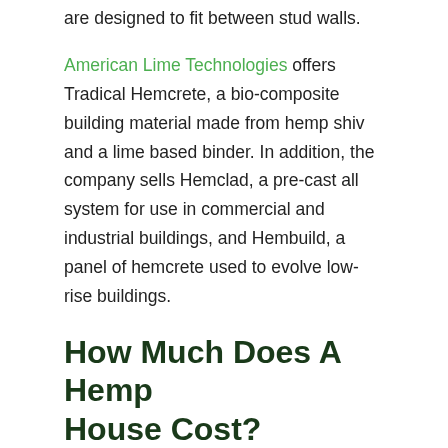are designed to fit between stud walls.
American Lime Technologies offers Tradical Hemcrete, a bio-composite building material made from hemp shiv and a lime based binder. In addition, the company sells Hemclad, a pre-cast all system for use in commercial and industrial buildings, and Hembuild, a panel of hemcrete used to evolve low-rise buildings.
How Much Does A Hemp House Cost?
Ultimately, building a house with hempcrete could cost significantly more than traditional